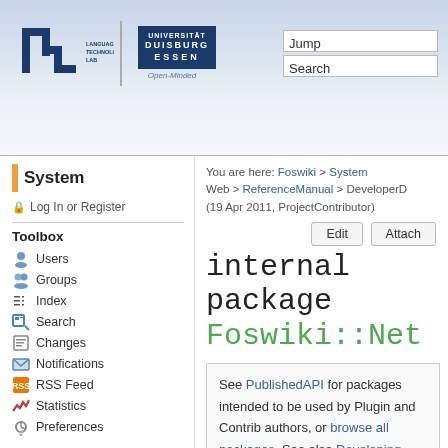[Figure (logo): Language Technology Lab logo with LTL initials and Universität Duisburg Essen logo]
Jump
Search
System
Log In or Register
Toolbox
Users
Groups
Index
Search
Changes
Notifications
RSS Feed
Statistics
Preferences
User Reference
BeginnersStartHere
TextFormattingRules
Macros
FormattedSearch
QuerySearch
You are here: Foswiki > System Web > ReferenceManual > DeveloperD (19 Apr 2011, ProjectContributor)
internal package Foswiki::Net
See PublishedAPI for packages intended to be used by Plugin and Contrib authors, or browse all packages. See also Developing plugins, Developer's